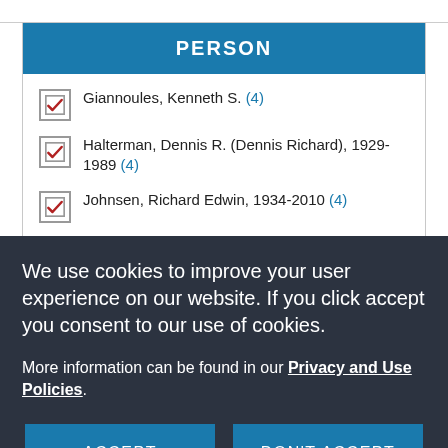PERSON
Giannoules, Kenneth S. (4)
Halterman, Dennis R. (Dennis Richard), 1929-1989 (4)
Johnsen, Richard Edwin, 1934-2010 (4)
We use cookies to improve your user experience on our website. If you click accept you consent to our use of cookies.
More information can be found in our Privacy and Use Policies.
ACCEPT
DON'T ACCEPT